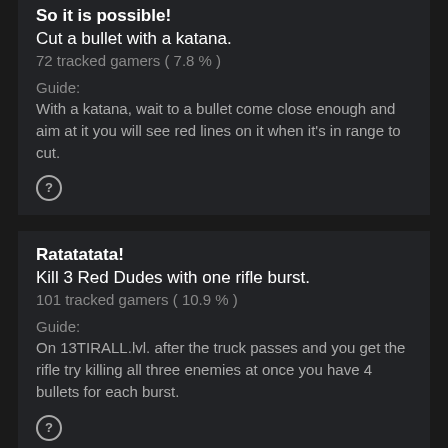So it is possible!
Cut a bullet with a katana.
72 tracked gamers ( 7.8 % )
Guide:
With a katana, wait to a bullet come close enough and aim at it you will see red lines on it when it's in range to cut.
Ratatatata!
Kill 3 Red Dudes with one rifle burst.
101 tracked gamers ( 10.9 % )
Guide:
On 13TIRALL.lvl. after the truck passes and you get the rifle try killing all three enemies at once you have 4 bullets for each burst.